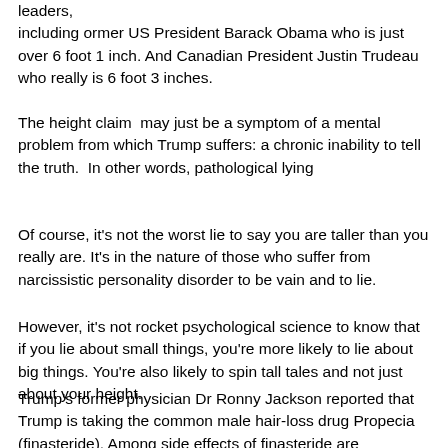leaders, including ormer US President Barack Obama who is just over 6 foot 1 inch. And Canadian President Justin Trudeau who really is 6 foot 3 inches.
The height claim  may just be a symptom of a mental problem from which Trump suffers: a chronic inability to tell the truth.  In other words, pathological lying
Of course, it's not the worst lie to say you are taller than you really are. It's in the nature of those who suffer from narcissistic personality disorder to be vain and to lie.
However, it's not rocket psychological science to know that if you lie about small things, you're more likely to lie about big things. You're also likely to spin tall tales and not just about your height.
Trump's former physician Dr Ronny Jackson reported that Trump is taking the common male hair-loss drug Propecia (finasteride). Among side effects of finasteride are impotence